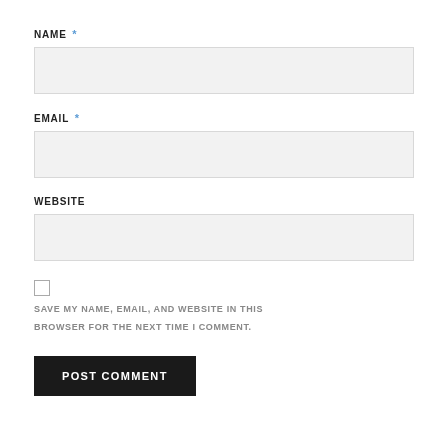NAME *
EMAIL *
WEBSITE
SAVE MY NAME, EMAIL, AND WEBSITE IN THIS BROWSER FOR THE NEXT TIME I COMMENT.
POST COMMENT